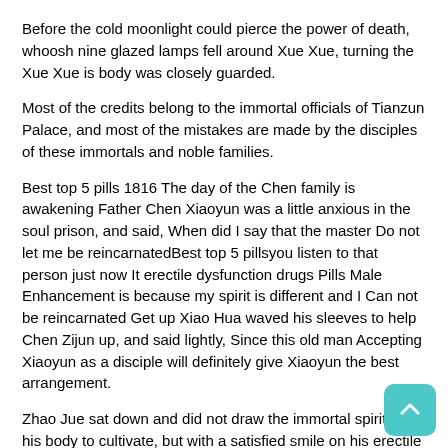Before the cold moonlight could pierce the power of death, whoosh nine glazed lamps fell around Xue Xue, turning the Xue Xue is body was closely guarded.
Most of the credits belong to the immortal officials of Tianzun Palace, and most of the mistakes are made by the disciples of these immortals and noble families.
Best top 5 pills 1816 The day of the Chen family is awakening Father Chen Xiaoyun was a little anxious in the soul prison, and said, When did I say that the master Do not let me be reincarnatedBest top 5 pillsyou listen to that person just now It erectile dysfunction drugs Pills Male Enhancement is because my spirit is different and I Can not be reincarnated Get up Xiao Hua waved his sleeves to help Chen Zijun up, and said lightly, Since this old man Accepting Xiaoyun as a disciple will definitely give Xiaoyun the best arrangement.
Zhao Jue sat down and did not draw the immortal spirit into his body to cultivate, but with a satisfied smile on his erectile dysfunction drugs Pills Healthy mouth, he thought to himself, This middle level golden immortal, although he looks unfamiliar, But the breath is quite familiar.